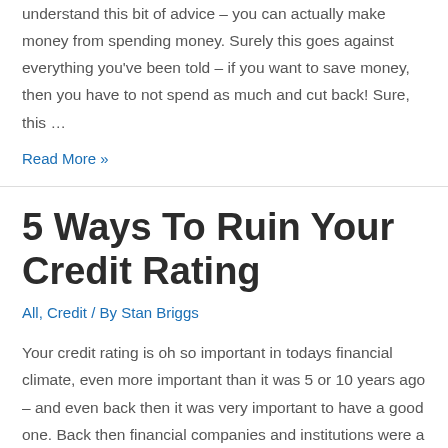understand this bit of advice – you can actually make money from spending money. Surely this goes against everything you've been told – if you want to save money, then you have to not spend as much and cut back! Sure, this …
Read More »
5 Ways To Ruin Your Credit Rating
All, Credit / By Stan Briggs
Your credit rating is oh so important in todays financial climate, even more important than it was 5 or 10 years ago – and even back then it was very important to have a good one. Back then financial companies and institutions were a lot more carefree with exactly whom  they chose to give their …